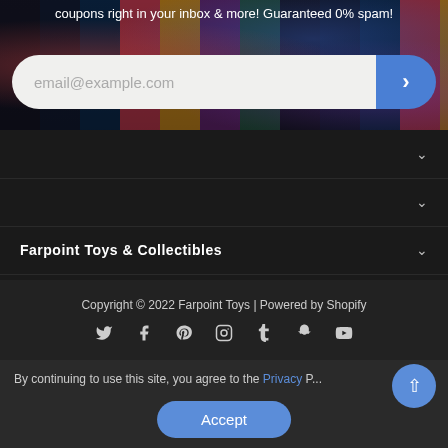coupons right in your inbox & more! Guaranteed 0% spam!
[Figure (screenshot): Email newsletter signup input field with placeholder text 'email@example.com' and a blue submit button with a right arrow on a toy collectibles banner background.]
Farpoint Toys & Collectibles
Copyright © 2022 Farpoint Toys | Powered by Shopify
[Figure (infographic): Social media icons row: Twitter, Facebook, Pinterest, Instagram, Tumblr, Snapchat, YouTube]
By continuing to use this site, you agree to the Privacy Policy
Accept